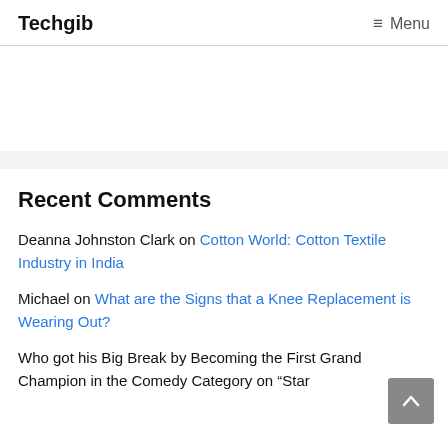Techgib   Menu
Recent Comments
Deanna Johnston Clark on Cotton World: Cotton Textile Industry in India
Michael on What are the Signs that a Knee Replacement is Wearing Out?
Who got his Big Break by Becoming the First Grand Champion in the Comedy Category on "Star